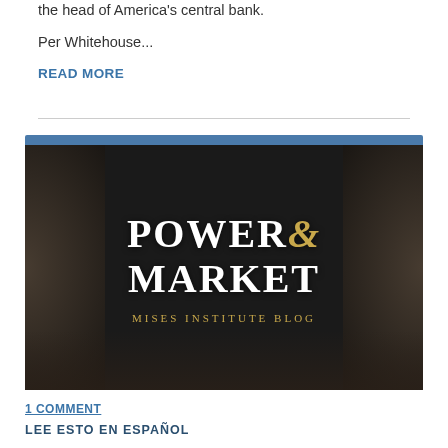the head of America's central bank.
Per Whitehouse...
READ MORE
[Figure (logo): Power & Market - Mises Institute Blog logo on a dark blurred background. White serif text reads POWER & MARKET with a gold ampersand, and gold text below reads MISES INSTITUTE BLOG. A blue bar appears at the top of the card.]
1 COMMENT
LEE ESTO EN ESPAÑOL